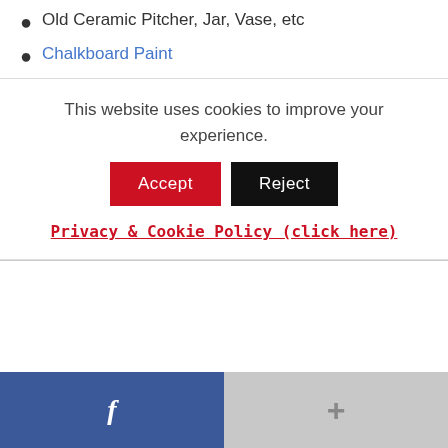Old Ceramic Pitcher, Jar, Vase, etc
Chalkboard Paint
This website uses cookies to improve your experience. Accept Reject Privacy & Cookie Policy (click here)
[Figure (screenshot): Cookie consent banner with Accept (red) and Reject (black) buttons and a Privacy & Cookie Policy link in red]
[Figure (screenshot): Footer bar with Facebook (blue, 'f') button on left and a grey '+' button on right]